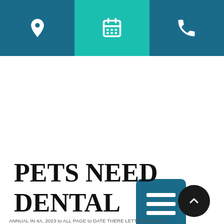[Figure (screenshot): Website header bar with three icon buttons: location pin (left), calendar (center, teal background), and phone (right), all on dark teal background]
[Figure (screenshot): Square dark teal menu/hamburger button with three white horizontal lines]
PETS NEED DENTAL CARE, TOO
ANNUAL IN 4A, 2023 to ALL PAGE to DATE THERE LETTING DENTAL